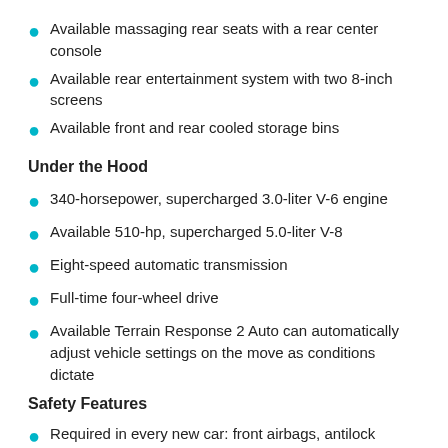Available massaging rear seats with a rear center console
Available rear entertainment system with two 8-inch screens
Available front and rear cooled storage bins
Under the Hood
340-horsepower, supercharged 3.0-liter V-6 engine
Available 510-hp, supercharged 5.0-liter V-8
Eight-speed automatic transmission
Full-time four-wheel drive
Available Terrain Response 2 Auto can automatically adjust vehicle settings on the move as conditions dictate
Safety Features
Required in every new car: front airbags, antilock